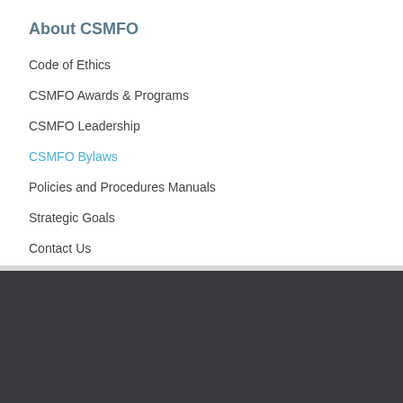About CSMFO
Code of Ethics
CSMFO Awards & Programs
CSMFO Leadership
CSMFO Bylaws
Policies and Procedures Manuals
Strategic Goals
Contact Us
OUR MISSION

CSMFO promotes excellence in
JOIN US TODAY

Join CSMFO and experience all of the benefits of
BEACON ECONOMICS FOR BEST

The CSMFO